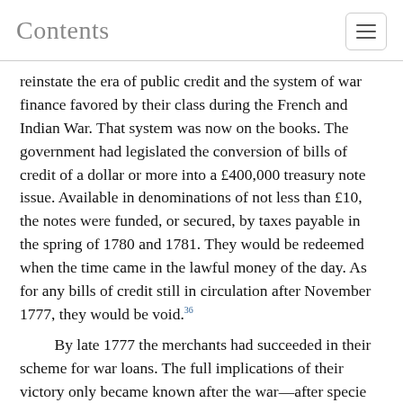Contents
reinstate the era of public credit and the system of war finance favored by their class during the French and Indian War. That system was now on the books. The government had legislated the conversion of bills of credit of a dollar or more into a £400,000 treasury note issue. Available in denominations of not less than £10, the notes were funded, or secured, by taxes payable in the spring of 1780 and 1781. They would be redeemed when the time came in the lawful money of the day. As for any bills of credit still in circulation after November 1777, they would be void.36
By late 1777 the merchants had succeeded in their scheme for war loans. The full implications of their victory only became known after the war—after specie was lawful money and heavy taxation was in full force. The financial system, however, still had to be defended against sharp-eyed criticism by the few who saw into the future and then had to be restored when the